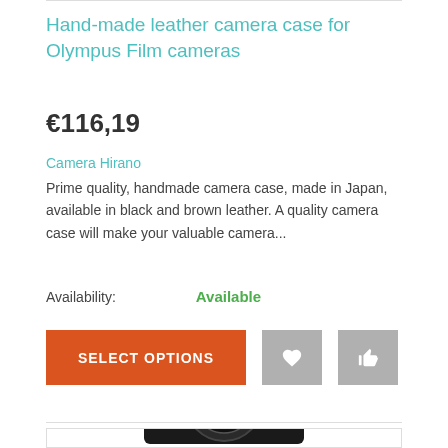Hand-made leather camera case for Olympus Film cameras
€116,19
Camera Hirano
Prime quality, handmade camera case, made in Japan, available in black and brown leather. A quality camera case will make your valuable camera...
Availability: Available
SELECT OPTIONS
[Figure (photo): Nikon film camera partially visible at bottom of page]